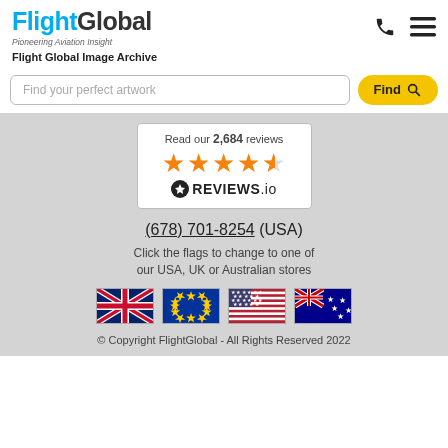[Figure (logo): FlightGlobal logo with tagline 'Pioneering Aviation Insight']
Flight Global Image Archive
[Figure (screenshot): Search bar with placeholder 'Find your perfect artwork' and yellow 'Find' button]
[Figure (infographic): Reviews.io widget showing 'Read our 2,684 reviews' with 4.5 orange stars and REVIEWS.io logo]
(678) 701-8254 (USA)
Click the flags to change to one of our USA, UK or Australian stores
[Figure (infographic): Four country flags: UK, EU, USA, Australia]
© Copyright FlightGlobal - All Rights Reserved 2022